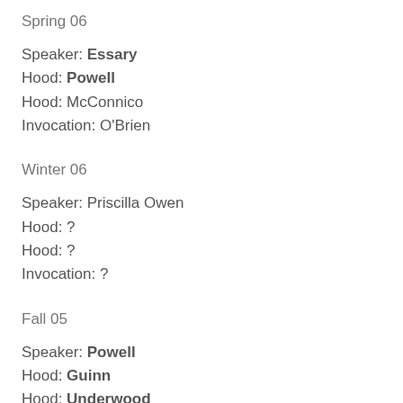Spring 06
Speaker: Essary
Hood: Powell
Hood: McConnico
Invocation: O'Brien
Winter 06
Speaker: Priscilla Owen
Hood: ?
Hood: ?
Invocation: ?
Fall 05
Speaker: Powell
Hood: Guinn
Hood: Underwood
Invocation: Essary